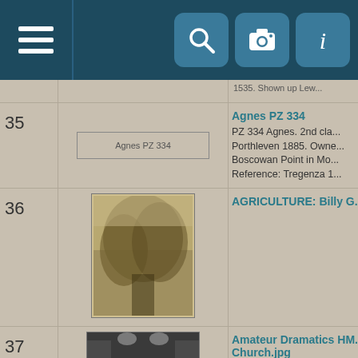[Figure (screenshot): Mobile app navigation bar with hamburger menu icon on left and three icon buttons (search, camera, info) on right, dark teal background]
| # | Image | Description |
| --- | --- | --- |
| 35 | Agnes PZ 334 [image] | Agnes PZ 334
PZ 334 Agnes. 2nd cla... Porthleven 1885. Owne... Boscowan Point in Mo... Reference: Tregenza 1... |
| 36 | [sepia photo of trees/haystack] | AGRICULTURE: Billy G... |
| 37 | [black and white group photo] | Amateur Dramatics HM... Church.jpg
Amateur Dramatics 19... |
| 38 | Ann Marcel PZ389 [image] | Ann Marcel PZ389
PZ 389 Ann Marcel. Bu... for David Hosking, of P... 1965. PZ 389 was the... thirty years. She was d... |